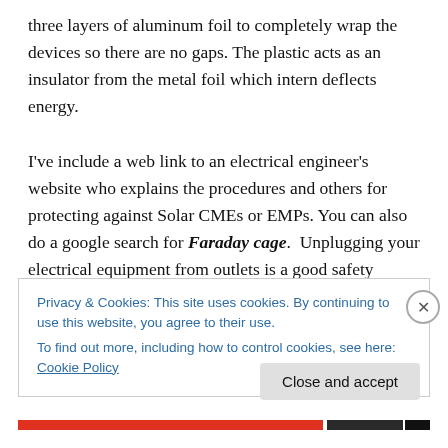three layers of aluminum foil to completely wrap the devices so there are no gaps. The plastic acts as an insulator from the metal foil which intern deflects energy.

I've include a web link to an electrical engineer's website who explains the procedures and others for protecting against Solar CMEs or EMPs. You can also do a google search for Faraday cage.  Unplugging your electrical equipment from outlets is a good safety precaution, which ordinarily could protect you against a lighting storms, but will probably not prevent your electronics from being fried
Privacy & Cookies: This site uses cookies. By continuing to use this website, you agree to their use.
To find out more, including how to control cookies, see here: Cookie Policy
Close and accept